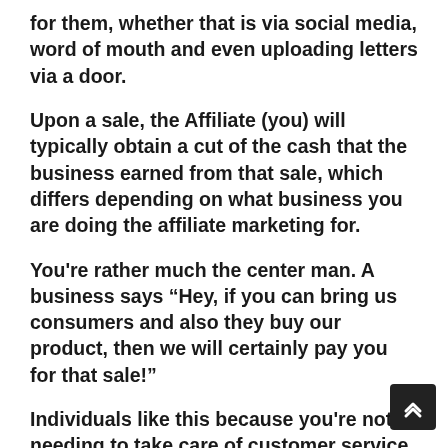for them, whether that is via social media, word of mouth and even uploading letters via a door.
Upon a sale, the Affiliate (you) will typically obtain a cut of the cash that the business earned from that sale, which differs depending on what business you are doing the affiliate marketing for.
You’re rather much the center man. A business says “Hey, if you can bring us consumers and also they buy our product, then we will certainly pay you for that sale!”
Individuals like this because you’re not needing to take care of customer service or any other of the tough service work. You’re just referring and driving traffic to the associate products you’re advertising and also getting paid a portion of the sale everytime someone buys. There is likewise no